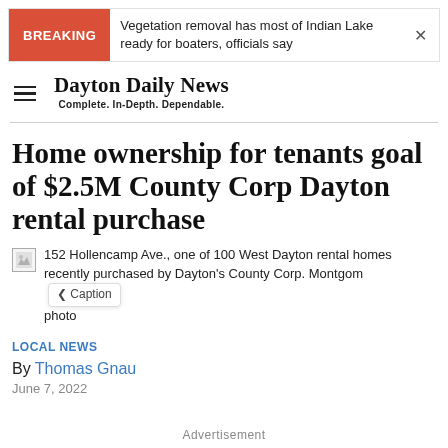BREAKING — Vegetation removal has most of Indian Lake ready for boaters, officials say
Dayton Daily News — Complete. In-Depth. Dependable.
Home ownership for tenants goal of $2.5M County Corp Dayton rental purchase
152 Hollencamp Ave., one of 100 West Dayton rental homes recently purchased by Dayton's County Corp. Montgomery photo
LOCAL NEWS
By Thomas Gnau
June 7, 2022
Advertisement